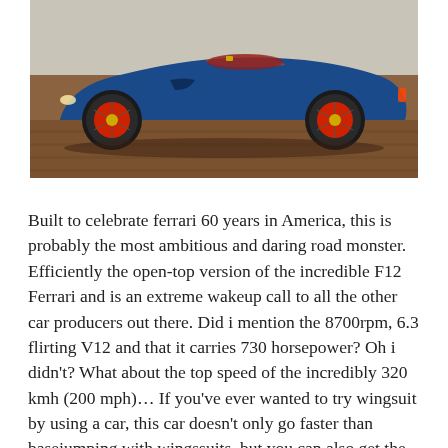[Figure (photo): Side profile view of a blue Ferrari (F60 America) convertible/roadster with red brake calipers and dark multi-spoke alloy wheels, parked on a brick/paved surface in front of a light-colored building.]
Built to celebrate ferrari 60 years in America, this is probably the most ambitious and daring road monster. Efficiently the open-top version of the incredible F12 Ferrari and is an extreme wakeup call to all the other car producers out there. Did i mention the 8700rpm, 6.3 flirting V12 and that it carries 730 horsepower? Oh i didn't? What about the top speed of the incredibly 320 kmh (200 mph)... If you've ever wanted to try wingsuit by using a car, this car doesn't only go faster than basejumping with wingssuits, but you can also get the ultimate experience by pressing a button and have the roof gone while you drive.